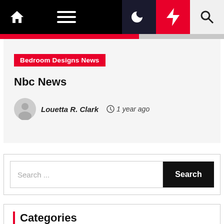Navigation bar with home, menu, moon, flash, and search icons
[Figure (screenshot): Gray and red progress bar below nav]
Bedroom Designs News
Nbc News
Louetta R. Clark  1 year ago
[Figure (screenshot): Search bar with text input and Search button]
Categories
Bedroom Designs News